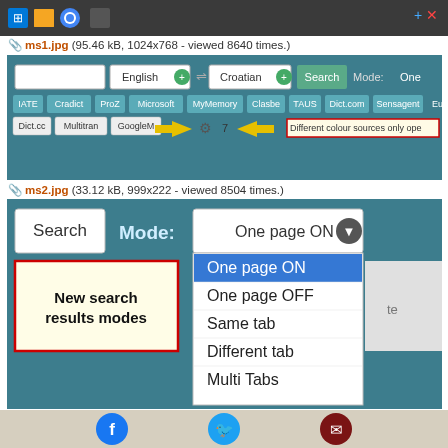[Figure (screenshot): Windows taskbar strip showing Win, folder, Chrome, dark icons on dark gray background]
ms1.jpg (95.46 kB, 1024x768 - viewed 8640 times.)
[Figure (screenshot): Translation tool screenshot showing search bar with English to Croatian dropdowns, Search button, Mode label, tabs for IATE, Cradict, ProZ, Microsoft, MyMemory, Clasbe, TAUS, Dict.com, Sensagent, Eudicand Dict.cc, Multitran, GoogleM with yellow arrows and gear icon, red box label 'Different colour sources only ope']
ms2.jpg (33.12 kB, 999x222 - viewed 8504 times.)
[Figure (screenshot): Translation tool screenshot showing Search button, Mode: label, dropdown with One page ON selected (blue), One page OFF, Same tab, Different tab, Multi Tabs options. Yellow callout box with text 'New search results modes' outlined in red.]
ms3.jpg (15.87 kB, 337x170 - viewed 8514 times.)
[Figure (screenshot): Bottom social sharing bar with Facebook, Twitter, and email icons on beige background]